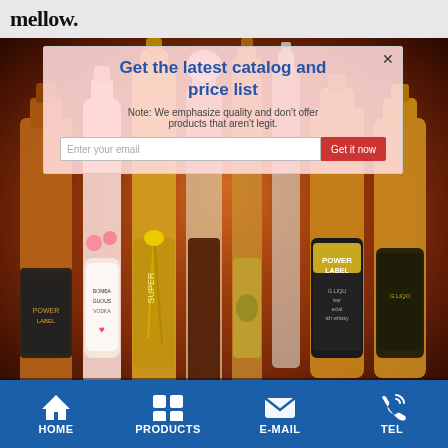mellow.
[Figure (photo): Collection of various liquor bottles including whisky, vodka, cognac, and other spirits arranged against a warm brown background. An overlay popup reads 'Get the latest catalog and price list' with an email input field and a 'Get it now' button.]
HOME  PRODUCTS  E-MAIL  TEL